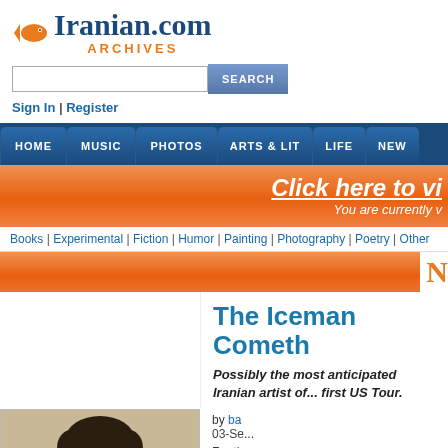[Figure (logo): Iranian.com ARCHIVES logo with orange fish icon]
[Figure (screenshot): Search input box and SEARCH button]
Sign In | Register
HOME | MUSIC | PHOTOS | ARTS & LIT | LIFE | NEW
[Figure (screenshot): Orange banner: Click here to vi... You are currently v...]
Books | Experimental | Fiction | Humor | Painting | Photography | Poetry | Other
[Figure (screenshot): Orange section bar with N letter]
The Iceman Cometh
Possibly the most anticipated Iranian artist of ... first US Tour.
[Figure (photo): Photo of a man with dark curly hair]
by ba... 03-Se...
For th...